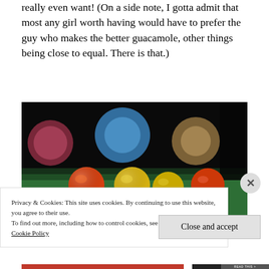really even want! (On a side note, I gotta admit that most any girl worth having would have to prefer the guy who makes the better guacamole, other things being close to equal. There is that.)
[Figure (photo): Blurred photo of billiard balls on a green pool table. Orange, yellow, and white balls visible in the foreground; blue and tan bokeh balls in the background on a dark surface.]
Privacy & Cookies: This site uses cookies. By continuing to use this website, you agree to their use.
To find out more, including how to control cookies, see here:
Cookie Policy
Close and accept